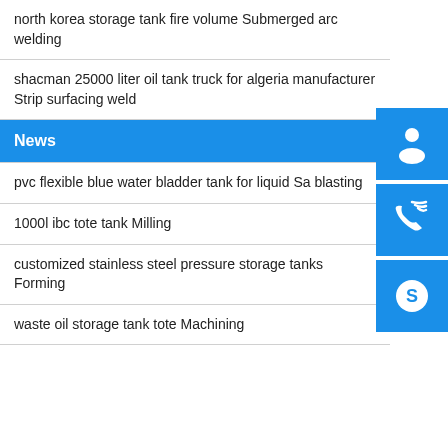north korea storage tank fire volume Submerged arc welding
shacman 25000 liter oil tank truck for algeria manufacturer Strip surfacing weld
News
pvc flexible blue water bladder tank for liquid Sand blasting
1000l ibc tote tank Milling
customized stainless steel pressure storage tanks Forming
waste oil storage tank tote Machining